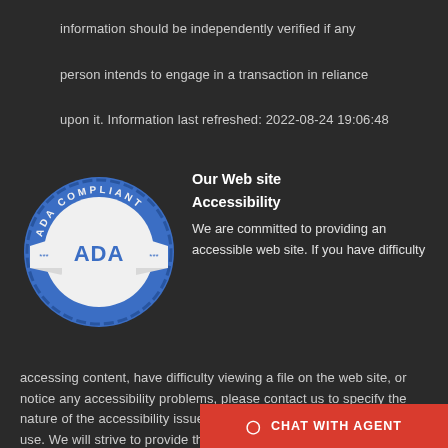information should be independently verified if any person intends to engage in a transaction in reliance upon it. Information last refreshed: 2022-08-24 19:06:48
[Figure (logo): ADA Compliant Website blue badge/seal logo with 'ADA' in large letters on a ribbon banner in the center, surrounded by decorative gear-like border with text 'ADA COMPLIANT' at the top and 'WEBSITE' at the bottom]
Our Web site Accessibility
We are committed to providing an accessible web site. If you have difficulty accessing content, have difficulty viewing a file on the web site, or notice any accessibility problems, please contact us to specify the nature of the accessibility issue and any assistive technology you use. We will strive to provide the content you need in the format y
CHAT WITH AGENT